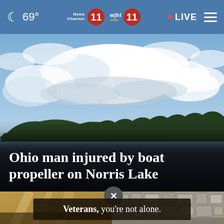69° News Channel 11 wjhl.com 11 • LIVE
[Figure (photo): Outdoor landscape photo showing a lake or river with forested hills in the background and a large cloudy sky above. Overlaid headline text reads: Ohio man injured by boat propeller on Norris Lake]
Ohio man injured by boat propeller on Norris Lake
[Figure (photo): Two thumbnail images at bottom of page: left shows an interior scene with warm lighting, right shows a stone mosaic or tile pattern]
Veterans, you're not alone.